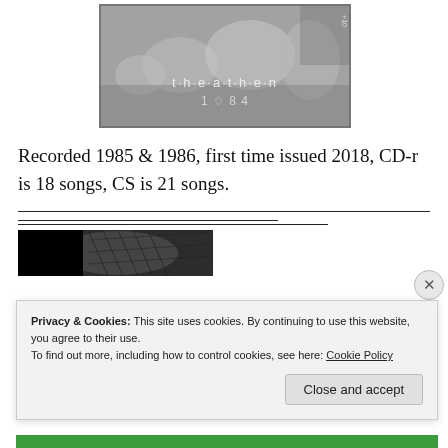[Figure (photo): Black and white album cover image for 'The Heathen 1984' showing multiple figures in a monochrome stylized photo with text overlay]
Recorded 1985 & 1986, first time issued 2018, CD-r is 18 songs, CS is 21 songs.
[Figure (photo): Partial photo strip showing a figure in fishnet stockings against a black background]
Privacy & Cookies: This site uses cookies. By continuing to use this website, you agree to their use.
To find out more, including how to control cookies, see here: Cookie Policy
Close and accept